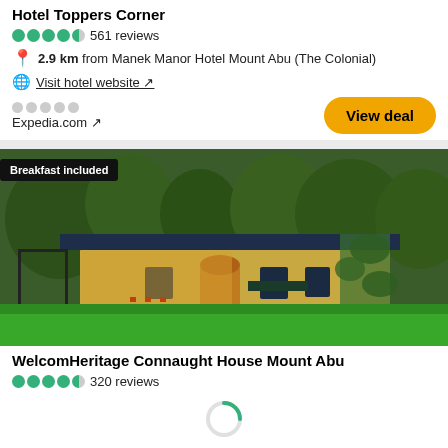Hotel Toppers Corner
561 reviews
2.9 km from Manek Manor Hotel Mount Abu (The Colonial)
Visit hotel website ↗
Expedia.com ↗
View deal
[Figure (photo): Exterior of a heritage hotel with yellow walls covered in ivy, green lawns in the foreground, lush trees in the background. Badge reads 'Breakfast included'.]
WelcomHeritage Connaught House Mount Abu
320 reviews
[Figure (other): Loading spinner icon (partial circle arc in green)]